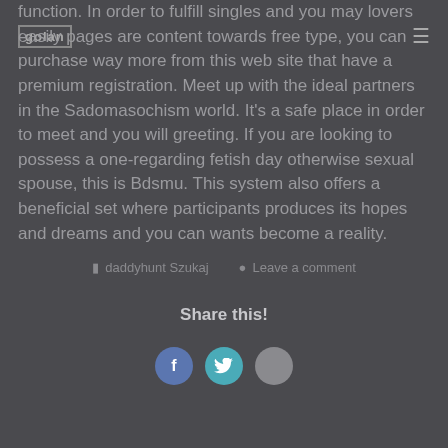golan  ≡
function. In order to fulfill singles and you may lovers easily pages are content towards free type, you can purchase way more from this web site that have a premium registration. Meet up with the ideal partners in the Sadomasochism world. It's a safe place in order to meet and you will greeting. If you are looking to possess a one-regarding fetish day otherwise sexual spouse, this is Bdsmu. This system also offers a beneficial set where participants produces its hopes and dreams and you can wants become a reality.
daddyhunt Szukaj   Leave a comment
Share this!
[Figure (infographic): Three social share buttons: Facebook (blue circle with f), Twitter (teal circle with bird icon), and a third grey circle button]